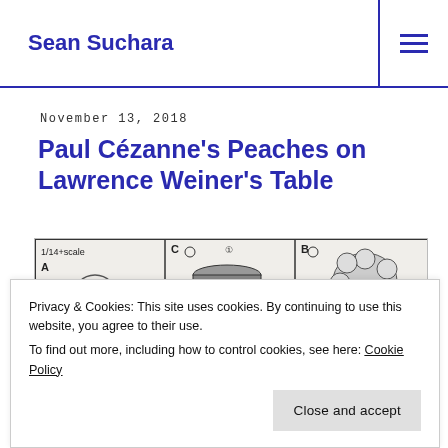Sean Suchara
November 13, 2018
Paul Cézanne's Peaches on Lawrence Weiner's Table
[Figure (illustration): A hand-drawn diagram or illustration with multiple panels showing objects labeled with letters (A, B, C) and numbers, including circular and cylindrical shapes, with text '1/14+scale' visible. Black and white sketch style.]
Privacy & Cookies: This site uses cookies. By continuing to use this website, you agree to their use.
To find out more, including how to control cookies, see here: Cookie Policy
Close and accept